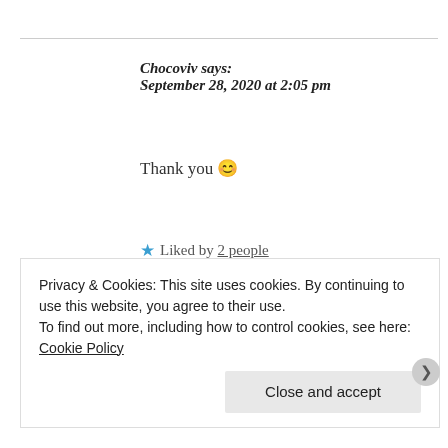Chocoviv says:
September 28, 2020 at 2:05 pm
Thank you 😊
★ Liked by 2 people
Reply
Privacy & Cookies: This site uses cookies. By continuing to use this website, you agree to their use.
To find out more, including how to control cookies, see here: Cookie Policy
Close and accept